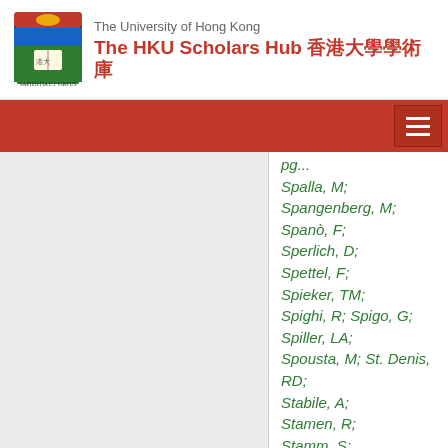The University of Hong Kong — The HKU Scholars Hub 香港大學學術庫
Spalla, M;
Spangenberg, M;
Spanò, F;
Sperlich, D;
Spettel, F;
Spieker, TM;
Spighi, R; Spigo, G; Spiller, LA;
Spousta, M; St. Denis, RD;
Stabile, A;
Stamen, R;
Stamm, S;
Stanecka, E;
Stanek, RW;
Stanescu, C;
Stanescu-Bellu,